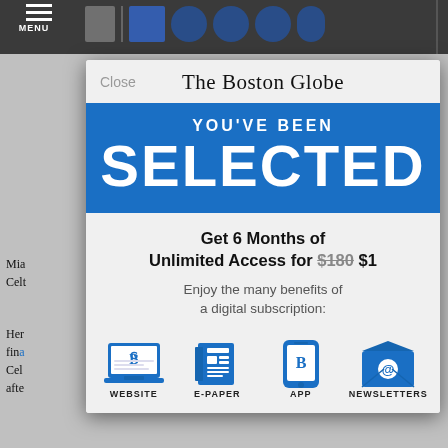MENU | The Boston Globe
The Boston Globe
Close
YOU'VE BEEN SELECTED
Get 6 Months of Unlimited Access for $180 $1
Enjoy the many benefits of a digital subscription:
[Figure (infographic): Four blue icons representing benefits: WEBSITE (laptop with Boston Globe logo), E-PAPER (newspaper), APP (smartphone with Boston Globe logo), NEWSLETTERS (envelope with @ symbol)]
WEBSITE   E-PAPER   APP   NEWSLETTERS